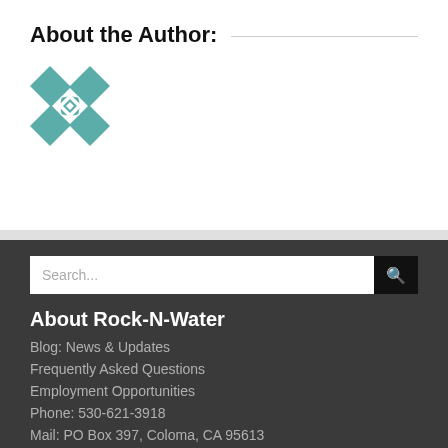About the Author:
[Figure (illustration): Teal and white geometric quilt pattern square icon]
About Rock-N-Water
Blog: News & Updates
Frequently Asked Questions
Employment Opportunities
Phone: 530-621-3918
Mail: PO Box 397, Coloma, CA 95613